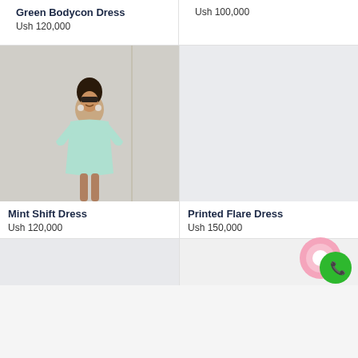Green Bodycon Dress
Ush 120,000
Ush 100,000
[Figure (photo): Woman wearing a mint green shift dress, smiling, with sunglasses on her head]
Mint Shift Dress
Ush 120,000
[Figure (photo): Placeholder image area for Printed Flare Dress (light gray background)]
Printed Flare Dress
Ush 150,000
[Figure (photo): Partial product image placeholder at bottom left]
[Figure (photo): Partial product image placeholder at bottom right]
[Figure (logo): Pink and green chat/messenger overlapping circle icons (WhatsApp-style button)]